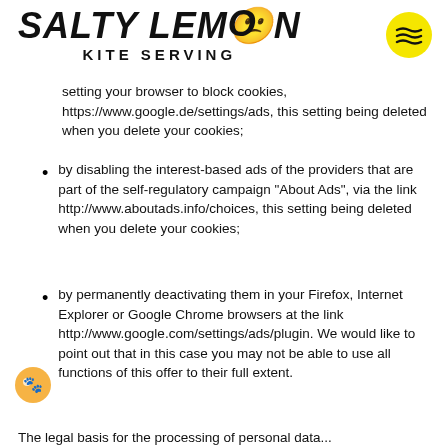SALTY LEMON KITE SERVING
setting your browser to block cookies, https://www.google.de/settings/ads, this setting being deleted when you delete your cookies;
by disabling the interest-based ads of the providers that are part of the self-regulatory campaign “About Ads”, via the link http://www.aboutads.info/choices, this setting being deleted when you delete your cookies;
by permanently deactivating them in your Firefox, Internet Explorer or Google Chrome browsers at the link http://www.google.com/settings/ads/plugin. We would like to point out that in this case you may not be able to use all functions of this offer to their full extent.
The legal basis for the processing of personal data...